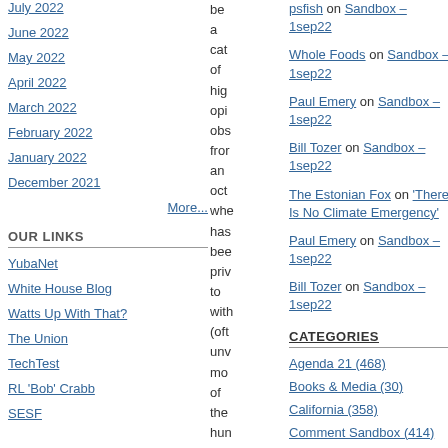July 2022
June 2022
May 2022
April 2022
March 2022
February 2022
January 2022
December 2021
More...
OUR LINKS
YubaNet
White House Blog
Watts Up With That?
The Union
TechTest
RL 'Bob' Crabb
SESF
be a cat of hig opi obs fron an oct whe has bee priv to with (oft unv mo of the hun trav
psfish on Sandbox – 1sep22
Whole Foods on Sandbox – 1sep22
Paul Emery on Sandbox – 1sep22
Bill Tozer on Sandbox – 1sep22
The Estonian Fox on 'There Is No Climate Emergency'
Paul Emery on Sandbox – 1sep22
Bill Tozer on Sandbox – 1sep22
CATEGORIES
Agenda 21 (468)
Books & Media (30)
California (358)
Comment Sandbox (414)
Critical Thinking & Numeracy (1232)
Culture Comments (722)
Current Affairs (1744)
Film (7)
Food and Drink (8)